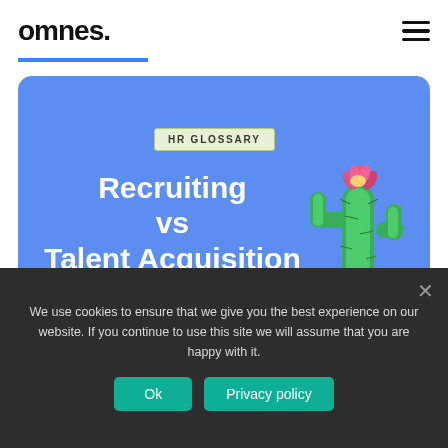omnes.
[Figure (illustration): Blue rounded hero card with HR Glossary badge, title 'Recruiting vs Talent Acquisition' in bold white, and a 3D cactus illustration on the right]
Recruiting vs Talent Acquisition
We use cookies to ensure that we give you the best experience on our website. If you continue to use this site we will assume that you are happy with it.
Ok   Privacy policy